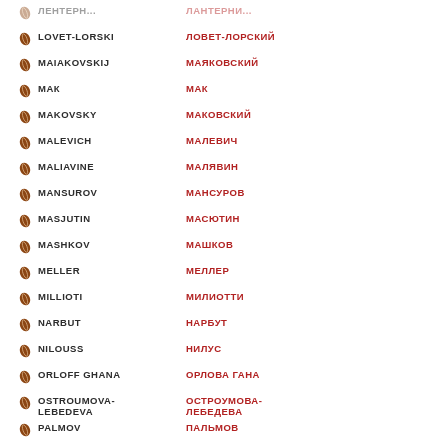LOVET-LORSKI — ЛОВЕТ-ЛОРСКИЙ
MAIAKOVSKIJ — МАЯКОВСКИЙ
МАК — МАК
MAKOVSKY — МАКОВСКИЙ
MALEVICH — МАЛЕВИЧ
MALIAVINE — МАЛЯВИН
MANSUROV — МАНСУРОВ
MASJUTIN — МАСЮТИН
MASHKOV — МАШКОВ
MELLER — МЕЛЛЕР
MILLIOTI — МИЛИОТТИ
NARBUT — НАРБУТ
NILOUSS — НИЛУС
ORLOFF GHANA — ОРЛОВА ГАНА
OSTROUMOVA-LEBEDEVA — ОСТРОУМОВА-ЛЕБЕДЕВА
PALMOV — ПАЛЬМОВ
PASCIN — ПАСКИН